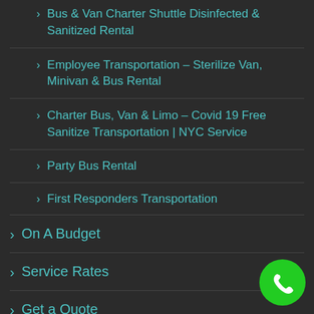Bus & Van Charter Shuttle Disinfected & Sanitized Rental
Employee Transportation – Sterilize Van, Minivan & Bus Rental
Charter Bus, Van & Limo – Covid 19 Free Sanitize Transportation | NYC Service
Party Bus Rental
First Responders Transportation
On A Budget
Service Rates
Get a Quote
Reservation
Download Authorization for Credit Card